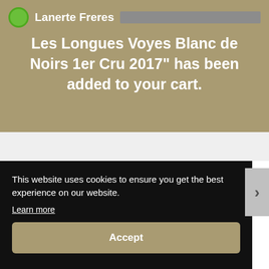Lanerte Freres
Les Longues Voyes Blanc de Noirs 1er Cru 2017" has been added to your cart.
This website uses cookies to ensure you get the best experience on our website.
Learn more
Accept